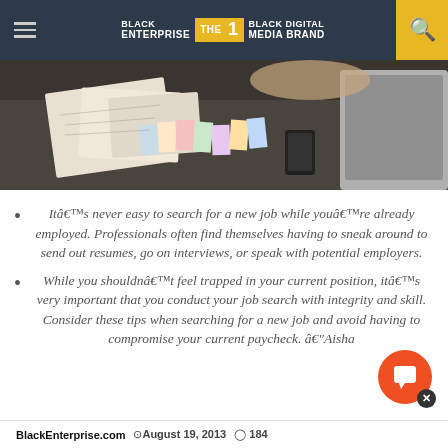BLACK ENTERPRISE THE #1 BLACK DIGITAL MEDIA BRAND
[Figure (photo): Photo of a desk with papers, color swatches, and design materials spread out, with a dark surface visible and hands in the background.]
Itâ€™s never easy to search for a new job while youâ€™re already employed. Professionals often find themselves having to sneak around to send out resumes, go on interviews, or speak with potential employers.
While you shouldnâ€™t feel trapped in your current position, itâ€™s very important that you conduct your job search with integrity and skill. Consider these tips when searching for a new job and avoid having to compromise your current paycheck. â€“Aisha
BlackEnterprise.com  ⊳August 19, 2013  ◎ 184